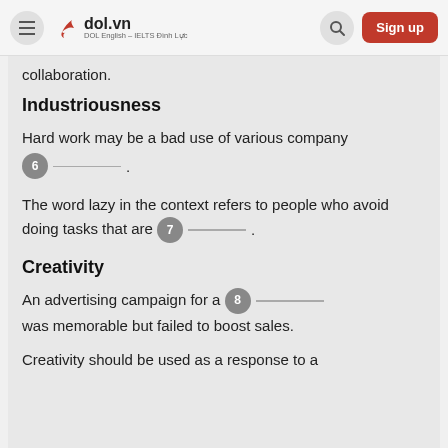dol.vn — DOL English – IELTS Đình Lực
collaboration.
Industriousness
Hard work may be a bad use of various company 6 ___ .
The word lazy in the context refers to people who avoid doing tasks that are 7 ___ .
Creativity
An advertising campaign for a 8 ___ was memorable but failed to boost sales.
Creativity should be used as a response to a